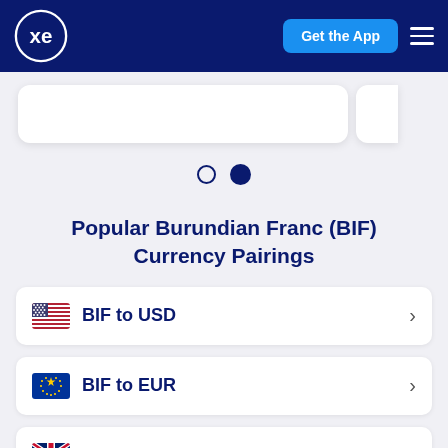xe  Get the App
[Figure (other): Pagination dots indicator: one empty circle and one filled circle]
Popular Burundian Franc (BIF) Currency Pairings
BIF to USD
BIF to EUR
BIF to GBP